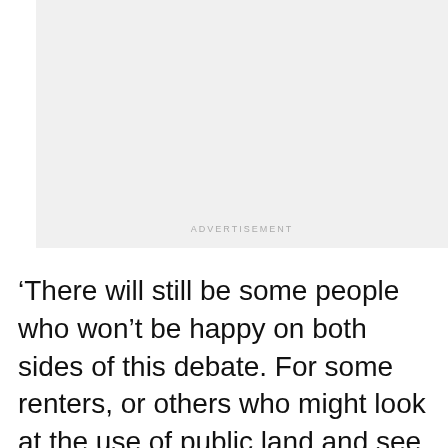[Figure (other): Advertisement placeholder box with light gray background and 'ADVERTISEMENT' label at the bottom center]
'There will still be some people who won't be happy on both sides of this debate. For some renters, or others who might look at the use of public land and see that we should be trying to get a bit more money from it. But we need to balance that with a cost-of-living crisis and make